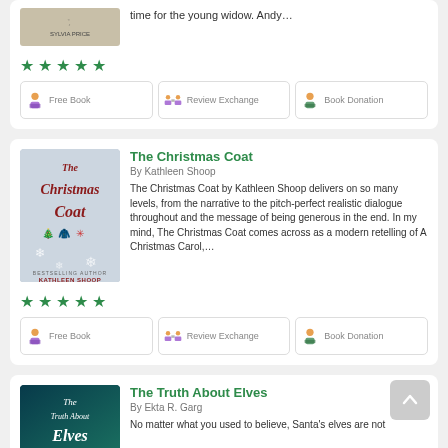[Figure (screenshot): Partial book listing card at top with book cover image (Sylvia Price), 5 green stars, and three buttons: Free Book, Review Exchange, Book Donation]
[Figure (screenshot): Book listing card for 'The Christmas Coat' by Kathleen Shoop with cover image, book description, 5 green stars, and three buttons: Free Book, Review Exchange, Book Donation]
[Figure (screenshot): Partial book listing card for 'The Truth About Elves' by Ekta R. Garg with cover image and partial description, plus scroll-to-top button]